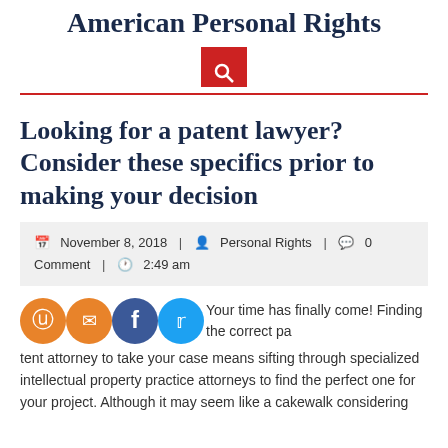American Personal Rights
Looking for a patent lawyer? Consider these specifics prior to making your decision
November 8, 2018 | Personal Rights | 0 Comment | 2:49 am
Your time has finally come! Finding the correct patent attorney to take your case means sifting through specialized intellectual property practice attorneys to find the perfect one for your project. Although it may seem like a cakewalk considering